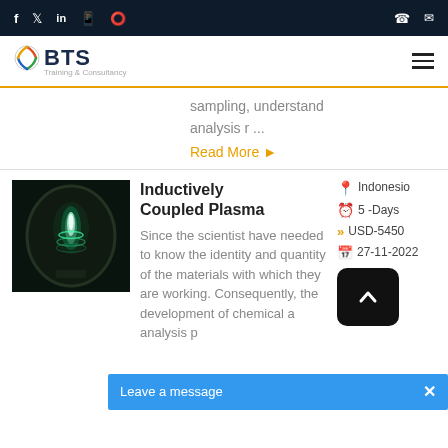BTS Training & Consultancy - social/nav bar
sampling, understand analysis r ...
Read More
Inductively Coupled Plasma
Since the scientist have needed to know the identity and quantity of the materials with which they are working. Consequently, the development of chemical a... analysis p...
Indonesia
5 -Days
USD-5450
27-11-2022
Leave a message